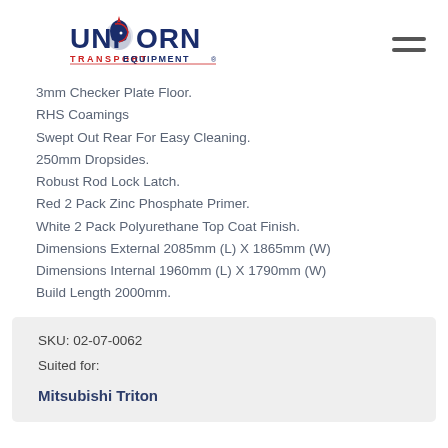[Figure (logo): Unicorn Transport Equipment logo with unicorn head graphic, text UNICORN in large blue/red letters and TRANSPORT EQUIPMENT below]
3mm Checker Plate Floor.
RHS Coamings
Swept Out Rear For Easy Cleaning.
250mm Dropsides.
Robust Rod Lock Latch.
Red 2 Pack Zinc Phosphate Primer.
White 2 Pack Polyurethane Top Coat Finish.
Dimensions External 2085mm (L) X 1865mm (W)
Dimensions Internal 1960mm (L) X 1790mm (W)
Build Length 2000mm.
| SKU: 02-07-0062 |
| Suited for: |
| Mitsubishi Triton |